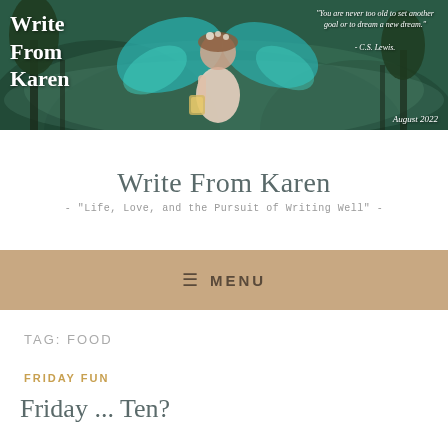[Figure (photo): Blog banner image with a fairy-like woman with wings holding a lantern in a forest setting. Text overlay: 'Write From Karen' on left, a C.S. Lewis quote on upper right, 'August 2022' on lower right.]
Write From Karen
- "Life, Love, and the Pursuit of Writing Well" -
≡ MENU
TAG: FOOD
FRIDAY FUN
Friday ... Ten?